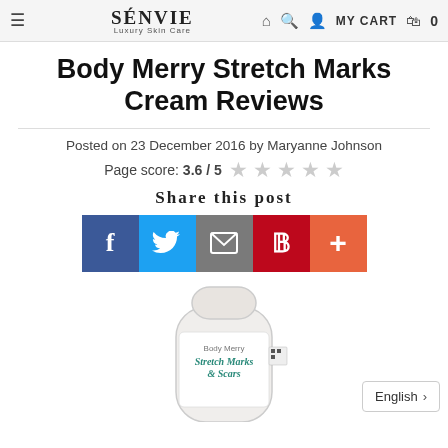≡  SÉNVIE Luxury Skin Care  🏠 🔍 👤 MY CART 🛒 0
Body Merry Stretch Marks Cream Reviews
Posted on 23 December 2016 by Maryanne Johnson
Page score: 3.6 / 5 ☆ ☆ ☆ ☆ ☆
Share this post
[Figure (infographic): Row of five social sharing buttons: Facebook (blue, f), Twitter (light blue, bird), Email (grey, envelope), Pinterest (red, p), Plus (orange-red, +)]
[Figure (photo): Partial view of a Body Merry Stretch Marks & Scars cream product bottle, white with teal/green label text]
English >